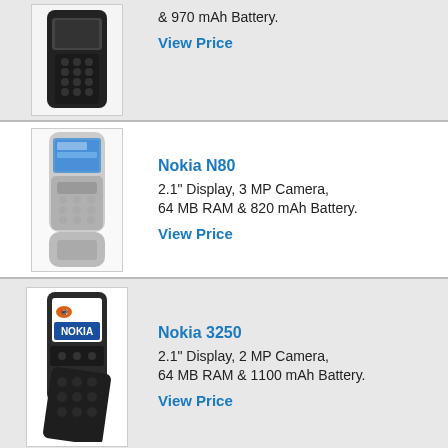[Figure (photo): Nokia phone (top, partially visible), dark color]
& 970 mAh Battery.
View Price
[Figure (photo): Nokia N80 silver slider phone]
Nokia N80
2.1" Display, 3 MP Camera, 64 MB RAM & 820 mAh Battery.
View Price
[Figure (photo): Nokia 3250 dark phone with Nokia logo on screen]
Nokia 3250
2.1" Display, 2 MP Camera, 64 MB RAM & 1100 mAh Battery.
View Price
[Figure (photo): Nokia 2652 phone, partially visible at bottom]
Nokia 2652